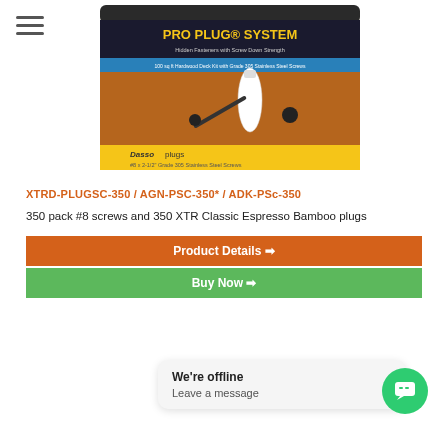[Figure (photo): PRO PLUG SYSTEM product packaging — a container showing hardwood deck kit with Grade 305 stainless steel screws, Dasso plugs, drill bits and tools on a bamboo deck background.]
XTRD-PLUGSC-350 / AGN-PSC-350* / ADK-PSc-350
350 pack #8 screws and 350 XTR Classic Espresso Bamboo plugs
Product Details ➔
Buy Now ➔
We're offline
Leave a message